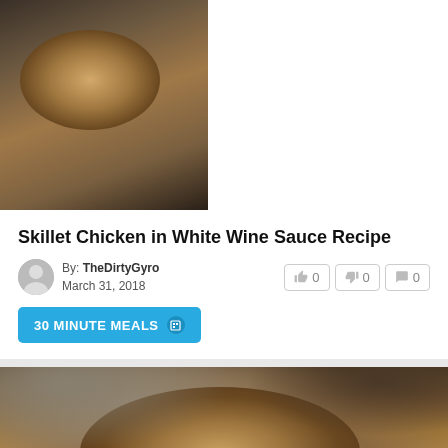[Figure (photo): Skillet chicken in white wine sauce photographed from above in a cast iron pan]
Skillet Chicken in White Wine Sauce Recipe
By: TheDirtyGyro
March 31, 2018
👍 0  👎 0  💬 0
30 MINUTE MEALS
[Figure (photo): Baked cheesy casserole in a wooden bowl on a wooden table with herbs]